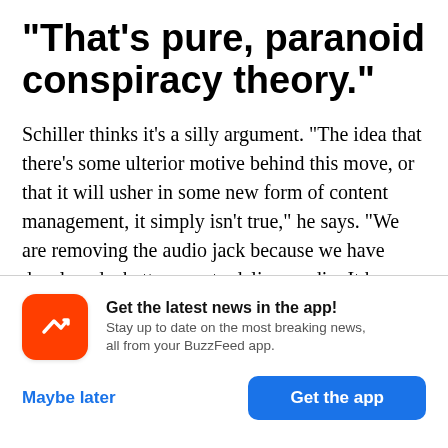“That’s pure, paranoid conspiracy theory.”
Schiller thinks it’s a silly argument. “The idea that there’s some ulterior motive behind this move, or that it will usher in some new form of content management, it simply isn’t true,” he says. “We are removing the audio jack because we have developed a better way to deliver audio. It has nothing to do
Get the latest news in the app! Stay up to date on the most breaking news, all from your BuzzFeed app.
Maybe later
Get the app